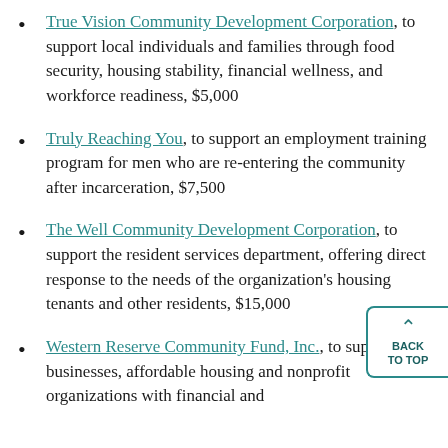True Vision Community Development Corporation, to support local individuals and families through food security, housing stability, financial wellness, and workforce readiness, $5,000
Truly Reaching You, to support an employment training program for men who are re-entering the community after incarceration, $7,500
The Well Community Development Corporation, to support the resident services department, offering direct response to the needs of the organization's housing tenants and other residents, $15,000
Western Reserve Community Fund, Inc., to support small businesses, affordable housing and nonprofit organizations with financial and